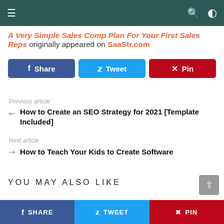navigation bar with menu, search, and dark mode icons
A Very Simple Sales Comp Plan For Your First Sales Reps originally appeared on SaaStr.com
[Figure (infographic): Social share buttons: Facebook Share, Twitter Tweet, Pinterest Pin]
Previous article
How to Create an SEO Strategy for 2021 [Template Included]
Next article
How to Teach Your Kids to Create Software
YOU MAY ALSO LIKE
Social share bottom bar: SHARE, TWEET, PIN